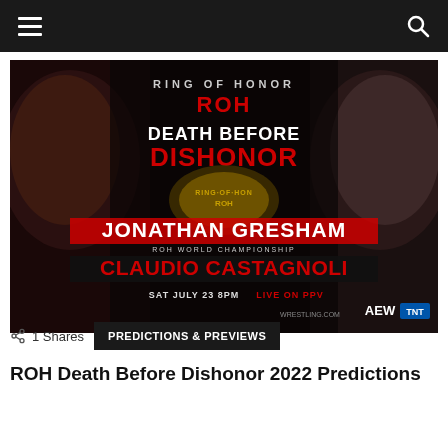Navigation bar with hamburger menu and search icon
[Figure (photo): ROH Death Before Dishonor event promotional poster featuring Jonathan Gresham vs Claudio Castagnoli for the ROH World Championship. Sat July 23, 8PM Live on PPV. AEW/TNT logos visible. Dark dramatic poster with two wrestlers' faces on either side and a championship belt in the center.]
1 Shares   PREDICTIONS & PREVIEWS
ROH Death Before Dishonor 2022 Predictions